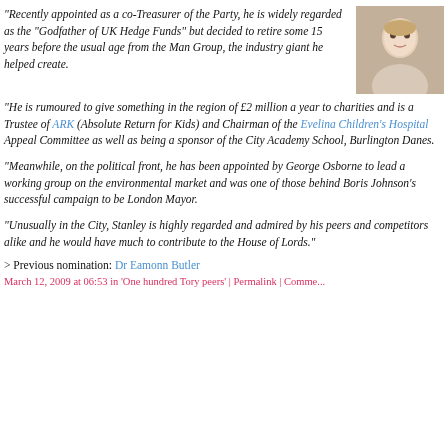"Recently appointed as a co-Treasurer of the Party, he is widely regarded as the "Godfather of UK Hedge Funds" but decided to retire some 15 years before the usual age from the Man Group, the industry giant he helped create.
[Figure (photo): Headshot photo of a smiling middle-aged man in a suit]
"He is rumoured to give something in the region of £2 million a year to charities and is a Trustee of ARK (Absolute Return for Kids) and Chairman of the Evelina Children's Hospital Appeal Committee as well as being a sponsor of the City Academy School, Burlington Danes.
"Meanwhile, on the political front, he has been appointed by George Osborne to lead a working group on the environmental market and was one of those behind Boris Johnson's successful campaign to be London Mayor.
"Unusually in the City, Stanley is highly regarded and admired by his peers and competitors alike and he would have much to contribute to the House of Lords."
> Previous nomination: Dr Eamonn Butler
March 12, 2009 at 06:53 in 'One hundred Tory peers' | Permalink | Comme...